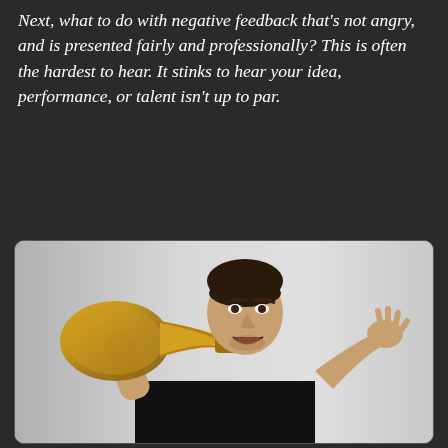Next, what to do with negative feedback that's not angry, and is presented fairly and professionally? This is often the hardest to hear. It stinks to hear your idea, performance, or talent isn't up to par.
[Figure (photo): A man in a black t-shirt holding a large brass megaphone/horn up to his ear with one hand and raising his other hand in a shrugging gesture, with an exasperated expression, against a light grey background.]